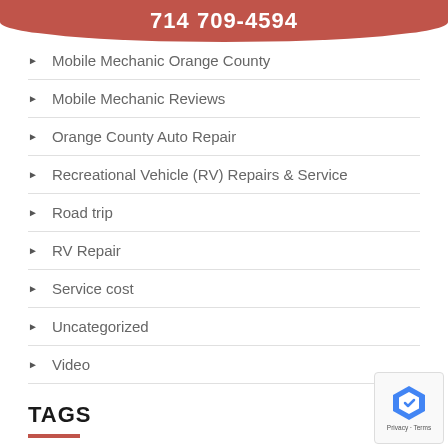714 709-4594
Mobile Mechanic Orange County
Mobile Mechanic Reviews
Orange County Auto Repair
Recreational Vehicle (RV) Repairs & Service
Road trip
RV Repair
Service cost
Uncategorized
Video
TAGS